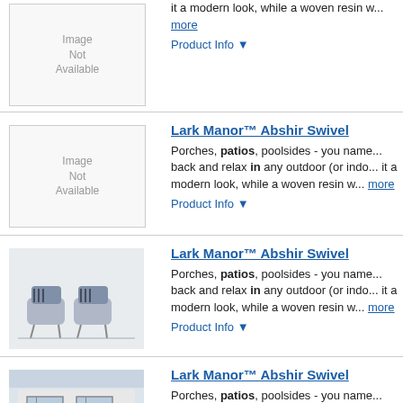[Figure (photo): Image Not Available placeholder box]
it a modern look, while a woven resin w... more
Product Info ▼
Lark Manor™ Abshir Swivel
[Figure (photo): Image Not Available placeholder box]
Porches, patios, poolsides - you name... back and relax in any outdoor (or indo... it a modern look, while a woven resin w... more
Product Info ▼
Lark Manor™ Abshir Swivel
[Figure (photo): Photo of two outdoor swivel chairs]
Porches, patios, poolsides - you name... back and relax in any outdoor (or indo... it a modern look, while a woven resin w... more
Product Info ▼
Lark Manor™ Abshir Swivel
[Figure (photo): Photo of outdoor furniture on a patio with a house]
Porches, patios, poolsides - you name... back and relax in any outdoor (or indo... it a modern look, while a woven resin w... more
Product Info ▼
Lark Manor™ Abshir Swivel
[Figure (photo): Photo of outdoor furniture on a patio with a house]
Porches, patios, poolsides - you name... back and relax in any outdoor (or indo...